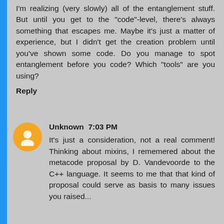I'm realizing (very slowly) all of the entanglement stuff. But until you get to the "code"-level, there's always something that escapes me. Maybe it's just a matter of experience, but I didn't get the creation problem until you've shown some code. Do you manage to spot entanglement before you code? Which "tools" are you using?
Reply
Unknown 7:03 PM
It's just a consideration, not a real comment! Thinking about mixins, I rememered about the metacode proposal by D. Vandevoorde to the C++ language. It seems to me that that kind of proposal could serve as basis to many issues you raised...